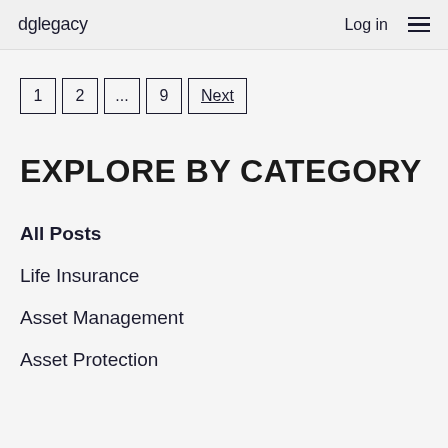dglegacy  Log in
1  2  ...  9  Next
EXPLORE BY CATEGORY
All Posts
Life Insurance
Asset Management
Asset Protection